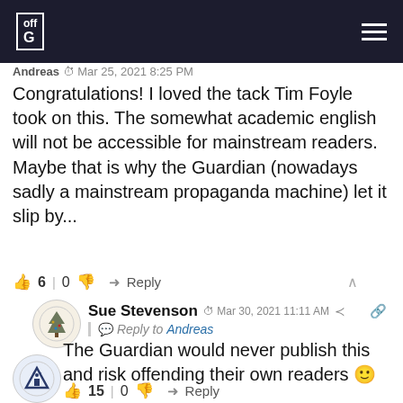off G [logo] [hamburger menu]
Andreas  Mar 25, 2021 8:25 PM
Congratulations! I loved the tack Tim Foyle took on this. The somewhat academic english will not be accessible for mainstream readers. Maybe that is why the Guardian (nowadays sadly a mainstream propaganda machine) let it slip by...
👍 6 | 0 👎  ➜ Reply
[Figure (illustration): Avatar for Sue Stevenson, circular icon with a pine tree illustration]
Sue Stevenson  ⏱ Mar 30, 2021 11:11 AM  Share  | Reply to Andreas
The Guardian would never publish this and risk offending their own readers 🙂
👍 15 | 0 👎  ➜ Reply
[Figure (illustration): Avatar for third commenter, circular icon with a triangle/emblem illustration]